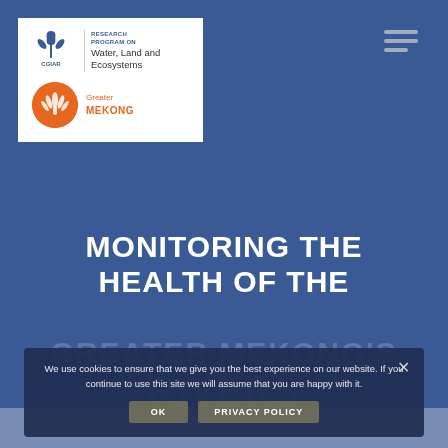[Figure (logo): CGIAR Research Program on Water, Land and Ecosystems logo combined with Greater Mekong logo on white background]
[Figure (other): Hamburger menu icon (three horizontal bars) in gray on blue background]
MONITORING THE HEALTH OF THE GREATER MEKONG'S RIVERS
We use cookies to ensure that we give you the best experience on our website. If you continue to use this site we will assume that you are happy with it.